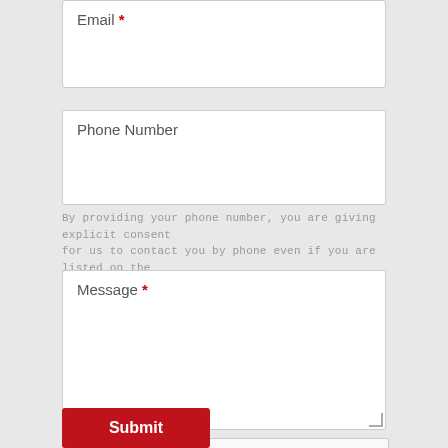Email *
Phone Number
By providing your phone number, you are giving explicit consent for us to contact you by phone even if you are listed on the National DNCL
Message *
[Figure (other): reCAPTCHA widget with checkbox labeled I'm not a robot, reCAPTCHA logo, Privacy and Terms links]
Submit